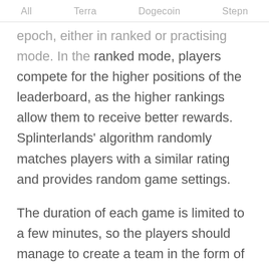All   Terra   Dogecoin   Stepn
epoch, either in ranked or practising mode. In the ranked mode, players compete for the higher positions of the leaderboard, as the higher rankings allow them to receive better rewards. Splinterlands' algorithm randomly matches players with a similar rating and provides random game settings.
The duration of each game is limited to a few minutes, so the players should manage to create a team in the form of a card deck according to the randomized parameters. Once the card selection phase is over, the battle begins automatically